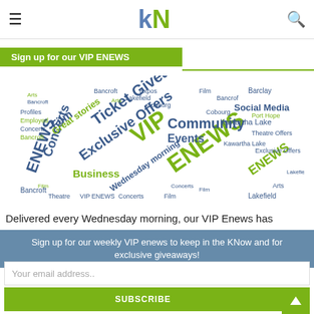kN logo with hamburger menu and search icon
Sign up for our VIP ENEWS
[Figure (illustration): Word cloud featuring terms like VIP ENEWS, Ticket Giveaways, Exclusive Offers, Concerts, Film, Great stories, Community Events, Social Media, Business, Wednesday morning, Arts, Bancroft, Lakefield, Cobourg, Kawartha Lakes, Barclay, Profiles, etc. in blue and green colors.]
Delivered every Wednesday morning, our VIP Enews has
Sign up for our weekly VIP enews to keep in the KNow and for exclusive giveaways!
Your email address..
SUBSCRIBE